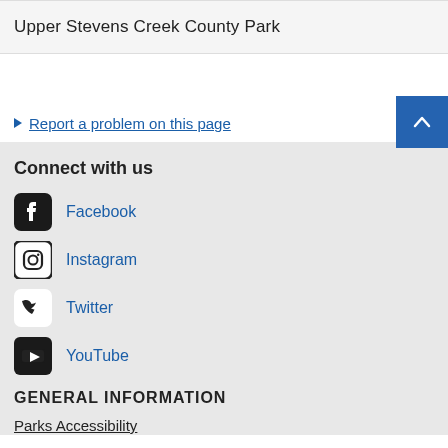Upper Stevens Creek County Park
▶ Report a problem on this page
Connect with us
Facebook
Instagram
Twitter
YouTube
GENERAL INFORMATION
Parks Accessibility